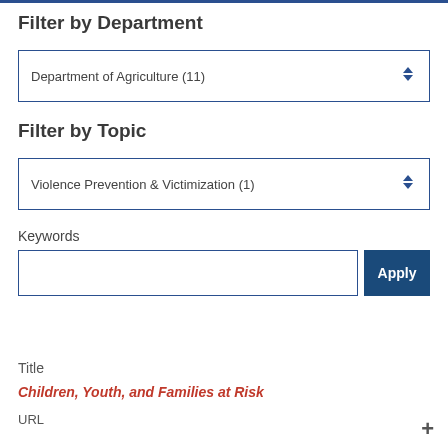Filter by Department
Department of Agriculture (11)
Filter by Topic
Violence Prevention & Victimization (1)
Keywords
Apply
Title
Children, Youth, and Families at Risk
URL